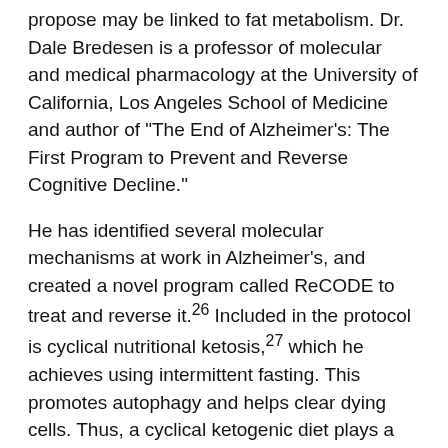propose may be linked to fat metabolism. Dr. Dale Bredesen is a professor of molecular and medical pharmacology at the University of California, Los Angeles School of Medicine and author of "The End of Alzheimer's: The First Program to Prevent and Reverse Cognitive Decline."
He has identified several molecular mechanisms at work in Alzheimer's, and created a novel program called ReCODE to treat and reverse it.26 Included in the protocol is cyclical nutritional ketosis,27 which he achieves using intermittent fasting. This promotes autophagy and helps clear dying cells. Thus, a cyclical ketogenic diet plays a neuroprotective role by promoting deep sleep to increase glymphatic clearance and autophagy to promote programmed cell death.
Trans Fat Increases Your Risk of Dementia